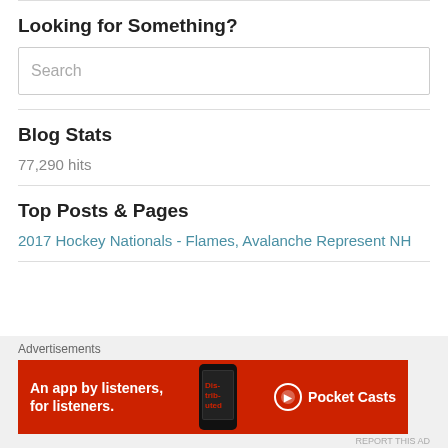Looking for Something?
[Figure (screenshot): Search input box with placeholder text 'Search']
Blog Stats
77,290 hits
Top Posts & Pages
2017 Hockey Nationals - Flames, Avalanche Represent NH
[Figure (screenshot): Advertisement banner for Pocket Casts app. Red background with text 'An app by listeners, for listeners.' with Pocket Casts logo and phone image.]